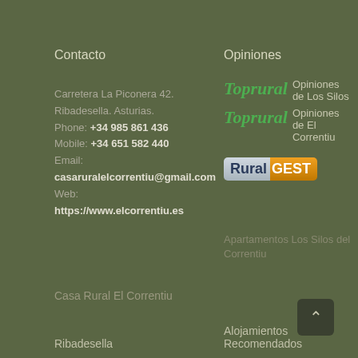Contacto
Opiniones
Carretera La Piconera 42. Ribadesella. Asturias.
Phone: +34 985 861 436
Mobile: +34 651 582 440
Email: casaruralelcorrentiu@gmail.com
Web: https://www.elcorrentiu.es
[Figure (logo): Toprural logo (green italic bold text) followed by 'Opiniones de Los Silos']
[Figure (logo): Toprural logo (green italic bold text) followed by 'Opiniones de El Correntiu']
[Figure (logo): RuralGEST badge logo with blue/grey 'Rural' and orange 'GEST']
Apartamentos Los Silos del Correntiu
Casa Rural El Correntiu
Ribadesella
Alojamientos Recomendados